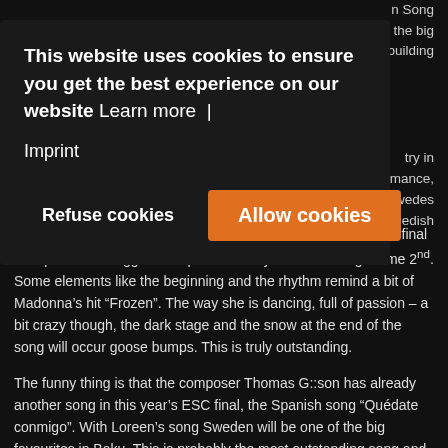the most important TV event in Sweden and for the Swedish music industry... n Song ...g the big ...building ...try in ...mance, ...Swedes ...edish single charts on #1 since March 9th and that's even before the final took place! Her biggest competitor Danny with "Amazing" came 2nd.
This website uses cookies to ensure you get the best experience on our website Learn more | Imprint
Refuse cookies | Allow cookies
single charts on #1 since March 9th and that's even before the final took place! Her biggest competitor Danny with “Amazing” came 2nd. Some elements like the beginning and the rhythm remind a bit of Madonna’s hit “Frozen”. The way she is dancing, full of passion – a bit crazy though, the dark stage and the snow at the end of the song will occur goose bumps. This is truly outstanding.
The funny thing is that the composer Thomas G::son has already another song in this year’s ESC final, the Spanish song “Quédate conmigo”. With Loreen’s song Sweden will be one of the big favourites in Baku. This is probably the most outstanding song and performance of the year. Very good choice Sweden!